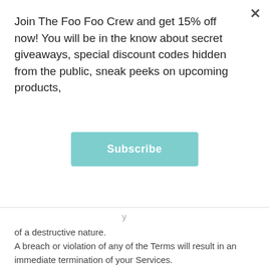Join The Foo Foo Crew and get 15% off now! You will be in the know about secret giveaways, special discount codes hidden from the public, sneak peeks on upcoming products,
Subscribe
of a destructive nature.
A breach or violation of any of the Terms will result in an immediate termination of your Services.
SECTION 2 – GENERAL CONDITIONS
We reserve the right to refuse service to anyone for any reason at any time.
You understand that your content (not including credit card information), may be transferred unencrypted and involve (a) transmissions over various networks; and (b) changes to conform and adapt to technical requirements of connecting networks or devices. Credit card information